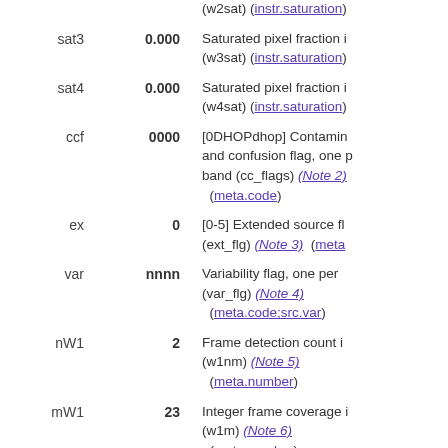| Name | Value | Description |
| --- | --- | --- |
| sat3 | 0.000 | Saturated pixel fraction in W3 band (w3sat) (instr.saturation) |
| sat4 | 0.000 | Saturated pixel fraction in W4 band (w4sat) (instr.saturation) |
| ccf | 0000 | [0DHOPdhop] Contamination and confusion flag, one per band (cc_flags) (Note 2) (meta.code) |
| ex | 0 | [0-5] Extended source flag (ext_flg) (Note 3) (meta...) |
| var | nnnn | Variability flag, one per band (var_flg) (Note 4) (meta.code;src.var) |
| nW1 | 2 | Frame detection count in W1 band (w1nm) (Note 5) (meta.number) |
| mW1 | 23 | Integer frame coverage in W1 band (w1m) (Note 6) (meta.number) |
| nW2 | 0 | Frame detection count in W2 band (w2nm) (Note 5) (meta.number) |